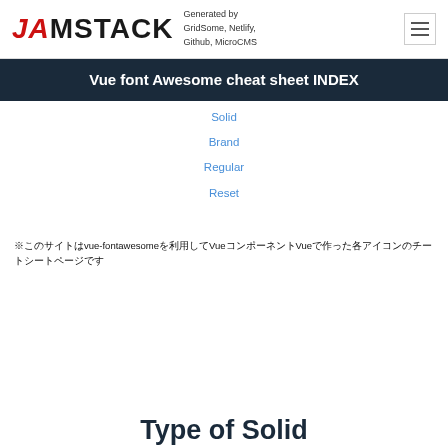JAMSTACK  Generated by GridSome, Netlify, Github, MicroCMS
Vue font Awesome cheat sheet INDEX
Solid
Brand
Regular
Reset
※このサイトはvue-fontawesomeを利用してVueコンポーネントVueで作った各アイコンのチートシートページです
Type of Solid